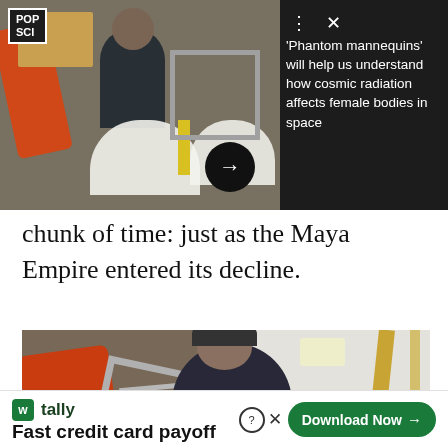[Figure (photo): Screenshot of a Popular Science article page showing a photo of mannequins and equipment inside a spacecraft, with overlay card showing article headline about 'Phantom mannequins' and cosmic radiation]
chunk of time: just as the Maya Empire entered its decline.
[Figure (photo): Photo of a person sitting inside a spacecraft or aerospace vehicle with orange suits and metal frames visible]
[Figure (other): Advertisement for Tally app: Fast credit card payoff with Download Now button]